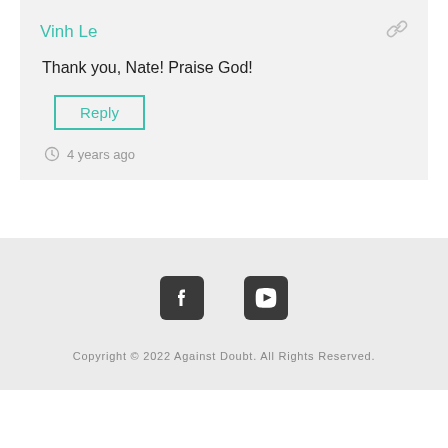Vinh Le
Thank you, Nate! Praise God!
Reply
4 years ago
[Figure (other): Social media icons: Facebook and YouTube]
Copyright © 2022 Against Doubt. All Rights Reserved.